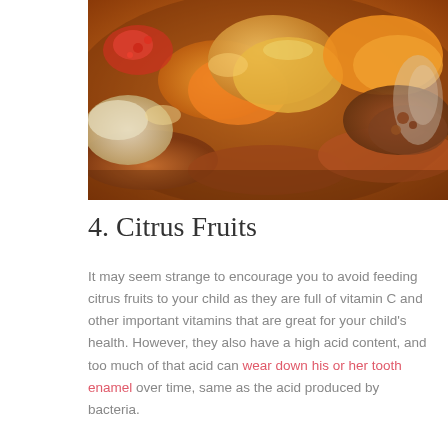[Figure (photo): Close-up photo of various dried fruits and nuts displayed in bowls at a market stall, with warm orange and brown tones]
4. Citrus Fruits
It may seem strange to encourage you to avoid feeding citrus fruits to your child as they are full of vitamin C and other important vitamins that are great for your child's health. However, they also have a high acid content, and too much of that acid can wear down his or her tooth enamel over time, same as the acid produced by bacteria.